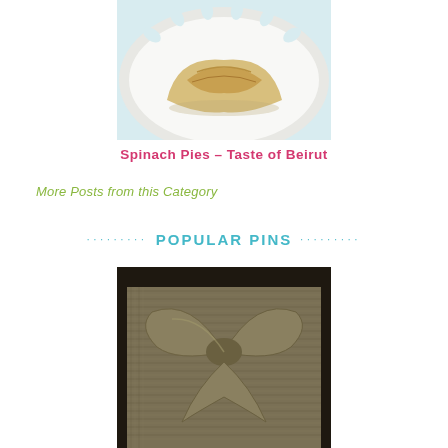[Figure (photo): Photo of a spinach pie (fatayer) on a white decorative plate with oval cutouts around the rim. The pie is golden-brown folded pastry triangular shape.]
Spinach Pies – Taste of Beirut
More Posts from this Category
POPULAR PINS
[Figure (photo): Photo of a burlap fabric bow wreath decoration against a dark background. The burlap is woven beige/khaki colored fabric formed into a large decorative bow.]